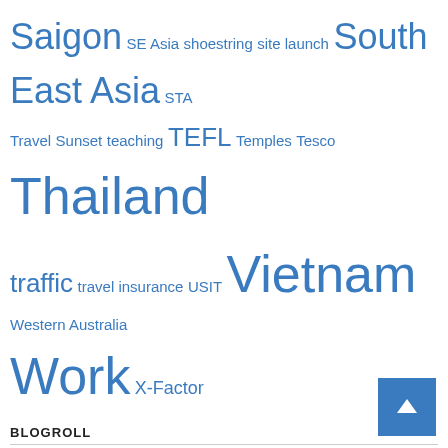[Figure (infographic): Tag cloud with travel-related keywords in various sizes, all in blue. Tags include: Saigon (large), SE Asia (small), shoestring (small), site launch (small), South East Asia (large), STA Travel (small), Sunset (small), teaching (small), TEFL (medium), Temples (small), Tesco (small), Thailand (extra large), traffic (medium), travel insurance (small), USIT (small), Vietnam (extra large), Western Australia (small), Work (extra large), X-Factor (medium)]
BLOGROLL
1000 Places to Fight Before you Die
A travel around the world
Dans Adventure
Dream a Little Dream
foXnoMad
Gap Year Escape
No place to be
Nomadic Matt
One Giant Step
Tales from Far Off Lands
The Art of Backpacking